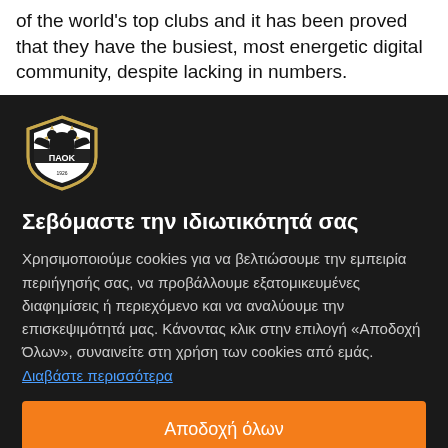of the world's top clubs and it has been proved that they have the busiest, most energetic digital community, despite lacking in numbers.
[Figure (logo): PAOK FC club crest logo — black and white shield with double-headed eagle and text ΠΑΟΚ]
Σεβόμαστε την ιδιωτικότητά σας
Χρησιμοποιούμε cookies για να βελτιώσουμε την εμπειρία περιήγησής σας, να προβάλλουμε εξατομικευμένες διαφημίσεις ή περιεχόμενο και να αναλύουμε την επισκεψιμότητά μας. Κάνοντας κλικ στην επιλογή «Αποδοχή Όλων», συναινείτε στη χρήση των cookies από εμάς. Διαβάστε περισσότερα
Αποδοχή όλων
Προσαρμογή
Απόρριψη όλων